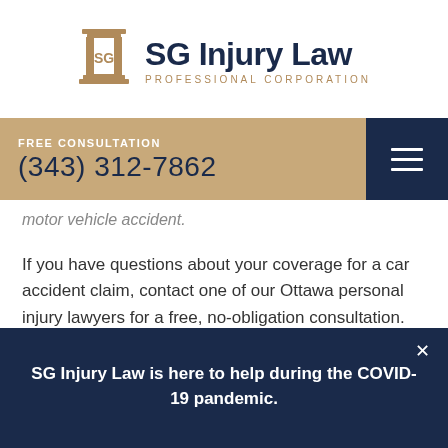[Figure (logo): SG Injury Law Professional Corporation logo with a stylized monument/column icon in gold and the firm name in dark navy]
FREE CONSULTATION
(343) 312-7862
motor vehicle accident.
If you have questions about your coverage for a car accident claim, contact one of our Ottawa personal injury lawyers for a free, no-obligation consultation.
We can be reached by any of the following ways:
SG Injury Law is here to help during the COVID-19 pandemic.